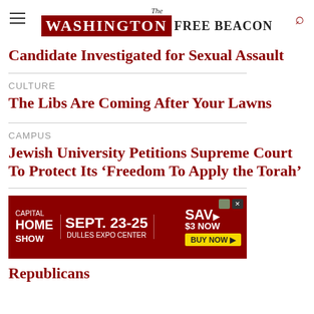The Washington Free Beacon
Candidate Investigated for Sexual Assault
CULTURE
The Libs Are Coming After Your Lawns
CAMPUS
Jewish University Petitions Supreme Court To Protect Its ‘Freedom To Apply the Torah’
[Figure (other): Advertisement banner for Capital Home Show, Sept. 23-25, Dulles Expo Center. Save $3 Now. Buy Now.]
Republicans